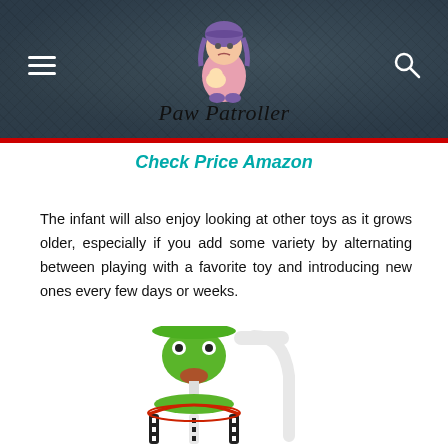Paw Patroller
Check Price Amazon
The infant will also enjoy looking at other toys as it grows older, especially if you add some variety by alternating between playing with a favorite toy and introducing new ones every few days or weeks.
[Figure (photo): Baby mobile toy with green frog/bird design on a white arc stand, with colorful hanging elements below]